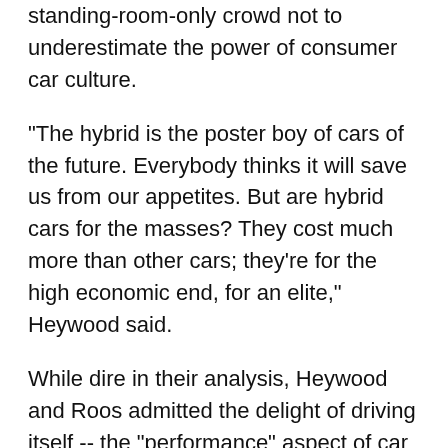standing-room-only crowd not to underestimate the power of consumer car culture.
"The hybrid is the poster boy of cars of the future. Everybody thinks it will save us from our appetites. But are hybrid cars for the masses? They cost much more than other cars; they're for the high economic end, for an elite," Heywood said.
While dire in their analysis, Heywood and Roos admitted the delight of driving itself -- the "performance" aspect of car design -- was not to be dismissed. Even people who use their cars for city driving buy "high performance, zero-to-60 in seven seconds" machines.
Fuchs' research showed that the prestige of big cars